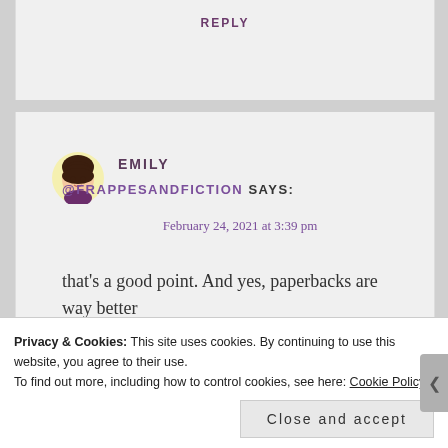REPLY
[Figure (illustration): User avatar: illustrated portrait of a young woman with dark hair, yellow circular background]
EMILY
@FRAPPESANDFICTION SAYS:
February 24, 2021 at 3:39 pm
that's a good point. And yes, paperbacks are way better
★ Like
Privacy & Cookies: This site uses cookies. By continuing to use this website, you agree to their use.
To find out more, including how to control cookies, see here: Cookie Policy
Close and accept